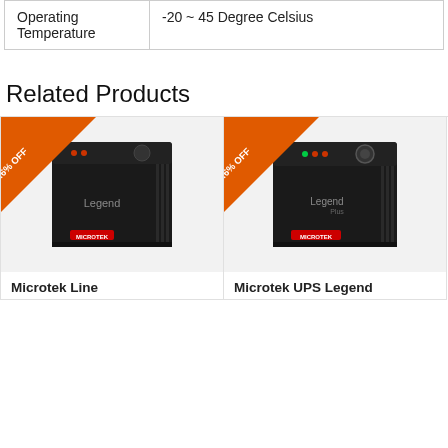| Operating Temperature | -20  ~  45 Degree Celsius |
Related Products
[Figure (photo): Microtek Line UPS product photo with 29.6% OFF ribbon banner, black tower UPS labeled 'Legend' with Microtek branding]
Microtek Line
[Figure (photo): Microtek UPS Legend product photo with 29.6% OFF ribbon banner, black tower UPS labeled 'Legend Plus' with Microtek branding]
Microtek UPS Legend